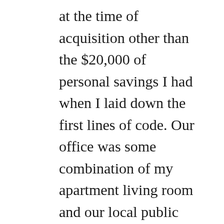at the time of acquisition other than the $20,000 of personal savings I had when I laid down the first lines of code. Our office was some combination of my apartment living room and our local public library. The park outside the library was our call room. We owned our own server hardware that we colocated 10 minutes down the road (it made sense when AWS didn't offer SSDs and their prices were much higher, plus RAM is still so much cheaper to buy than rent). We had weekly team dinners, but almost no meetings – we spent a very large percentage of our time on productive work. Most years, we spent <$1,000 on marketing. We were all engineers, including our business development person, Ed